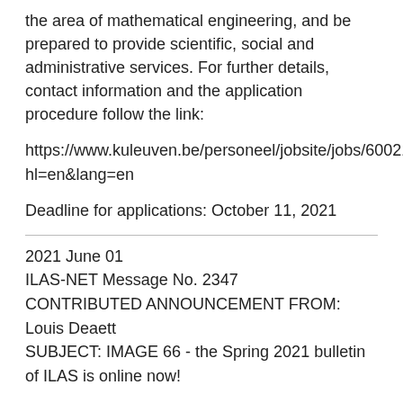the area of mathematical engineering, and be prepared to provide scientific, social and administrative services. For further details, contact information and the application procedure follow the link:
https://www.kuleuven.be/personeel/jobsite/jobs/60021670?hl=en&lang=en
Deadline for applications: October 11, 2021
2021 June 01
ILAS-NET Message No. 2347
CONTRIBUTED ANNOUNCEMENT FROM: Louis Deaett
SUBJECT: IMAGE 66 - the Spring 2021 bulletin of ILAS is online now!
Inside the new issue of IMAGE, you can read a wide-ranging interview with Richard Brualdi. You can also